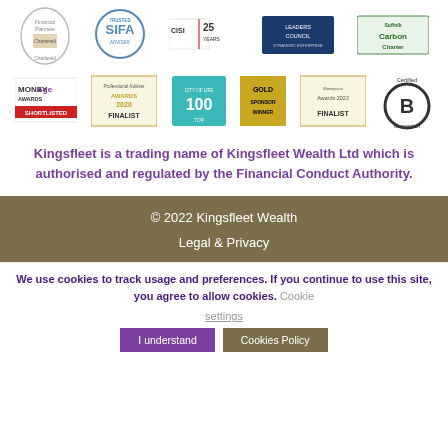[Figure (logo): Row of accreditation and award logos: Financial Planners Chartered, SIFA Trusted Adviser, CISI 25 Years, Leaders Council, Suffolk Carbon Charter]
[Figure (logo): Row of award logos: MoneyAge Awards Shortlisted, Professional Adviser Awards 2020 Finalist, City of Life Top 100, Gold Sponsor Winner, Moneyacts Awards 2022 Finalist, Certified B Corporation]
Kingsfleet is a trading name of Kingsfleet Wealth Ltd which is authorised and regulated by the Financial Conduct Authority.
© 2022 Kingsfleet Wealth
Legal & Privacy
We use cookies to track usage and preferences. If you continue to use this site, you agree to allow cookies. Cookie settings   I understand   Cookies Policy